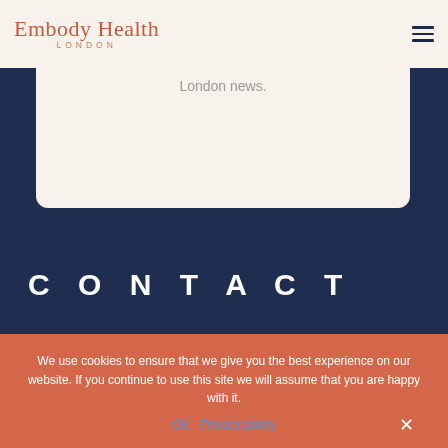Embody Health LONDON
London news.
CONTACT
We use cookies to ensure that we give you the best experience on our website. If you continue to use this site we will assume that you are happy with it.
Ok  Privacy policy